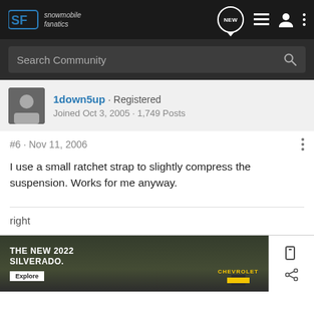Snowmobile Fanatics - Search Community
1down5up · Registered
Joined Oct 3, 2005 · 1,749 Posts
#6 · Nov 11, 2006
I use a small ratchet strap to slightly compress the suspension. Works for me anyway.
right
[Figure (screenshot): Chevrolet advertisement banner: THE NEW 2022 SILVERADO. with Explore button and Chevrolet logo, showing a truck in a field]